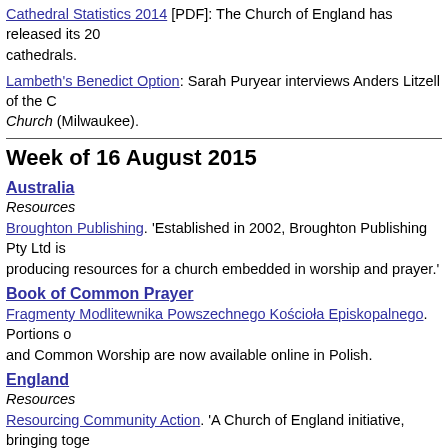Cathedral Statistics 2014 [PDF]: The Church of England has released its 2014 cathedral statistics for cathedrals.
Lambeth's Benedict Option: Sarah Puryear interviews Anders Litzell of the Church (Milwaukee).
Week of 16 August 2015
Australia
Resources
Broughton Publishing. 'Established in 2002, Broughton Publishing Pty Ltd is producing resources for a church embedded in worship and prayer.'
Book of Common Prayer
Fragmenty Modlitewnika Powszechnego Kościoła Episkopalnego. Portions of and Common Worship are now available online in Polish.
England
Resources
Resourcing Community Action. 'A Church of England initiative, bringing together providing Christian care in local communities with the resources and knowledge across the country over the coming years. This is a site designed for action...
Events
London-Paris, 13-27 November 2015: Pilgrimage2Paris
'At the end of November, world leaders will meet at the UN climate talks in Paris across the UK will come together to call on world leaders to agree a fair, ambitious deal in Paris. The Church of England, Christian Aid, CAFOD and Tearfund have backed Pilgrimage2Paris ahead of the UN talks. The pilgrimage will start in London...